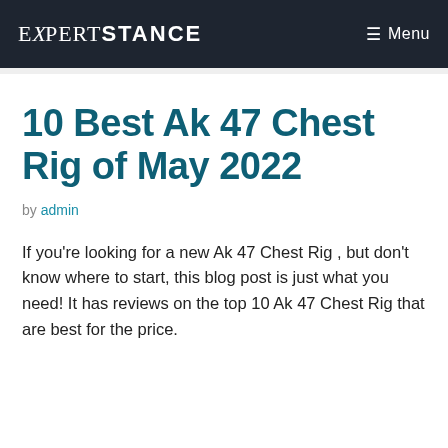EXPERT STANCE  Menu
10 Best Ak 47 Chest Rig of May 2022
by admin
If you're looking for a new Ak 47 Chest Rig , but don't know where to start, this blog post is just what you need! It has reviews on the top 10 Ak 47 Chest Rig that are best for the price.